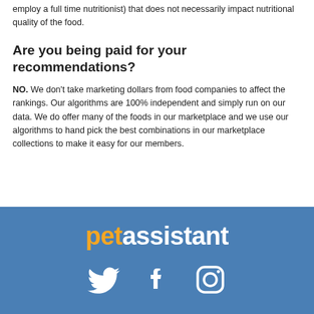employ a full time nutritionist) that does not necessarily impact nutritional quality of the food.
Are you being paid for your recommendations?
NO. We don't take marketing dollars from food companies to affect the rankings. Our algorithms are 100% independent and simply run on our data. We do offer many of the foods in our marketplace and we use our algorithms to hand pick the best combinations in our marketplace collections to make it easy for our members.
[Figure (logo): petassistant logo in orange and white text]
[Figure (illustration): Social media icons: Twitter bird, Facebook f, Instagram camera]